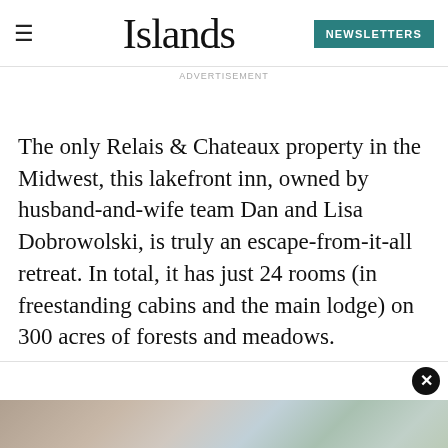Islands — NEWSLETTERS
ADVERTISEMENT
The only Relais & Chateaux property in the Midwest, this lakefront inn, owned by husband-and-wife team Dan and Lisa Dobrowolski, is truly an escape-from-it-all retreat. In total, it has just 24 rooms (in freestanding cabins and the main lodge) on 300 acres of forests and meadows.
[Figure (photo): Outdoor photo strip showing trees and a building exterior]